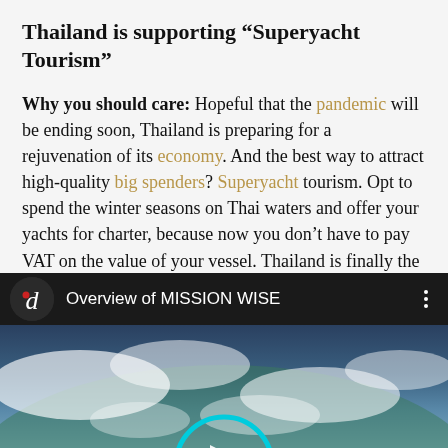Thailand is supporting “Superyacht Tourism”
Why you should care: Hopeful that the pandemic will be ending soon, Thailand is preparing for a rejuvenation of its economy. And the best way to attract high-quality big spenders? Superyacht tourism. Opt to spend the winter seasons on Thai waters and offer your yachts for charter, because now you don’t have to pay VAT on the value of your vessel. Thailand is finally the world’s third superyacht destination.
[Figure (screenshot): Video player screenshot showing 'Overview of MISSION WISE' with a dark header bar containing a circular logo with letter d and a red dot, video title text, and a three-dot menu icon. Below is a thumbnail showing an aerial/space view of Earth with clouds and a partial cyan circular play button overlay.]